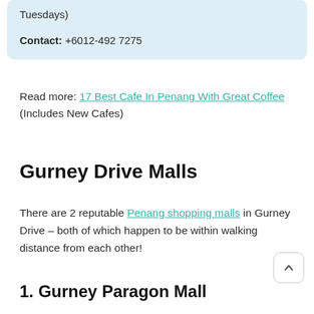Tuesdays)
Contact: +6012-492 7275
Read more: 17 Best Cafe In Penang With Great Coffee (Includes New Cafes)
Gurney Drive Malls
There are 2 reputable Penang shopping malls in Gurney Drive – both of which happen to be within walking distance from each other!
1. Gurney Paragon Mall